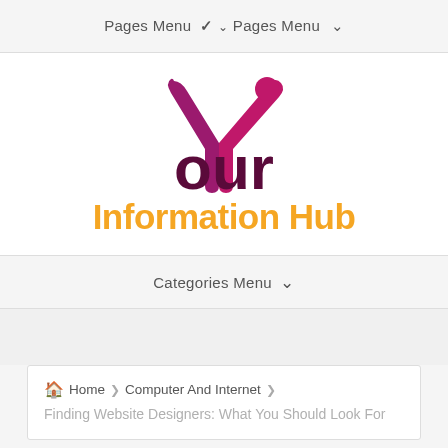Pages Menu ▾
[Figure (logo): Your Information Hub logo — stylized magenta/purple Y with a person figure, bold dark maroon 'our' text, and orange 'Information Hub' text below]
Categories Menu ▾
🏠 Home  Computer And Internet  Finding Website Designers: What You Should Look For